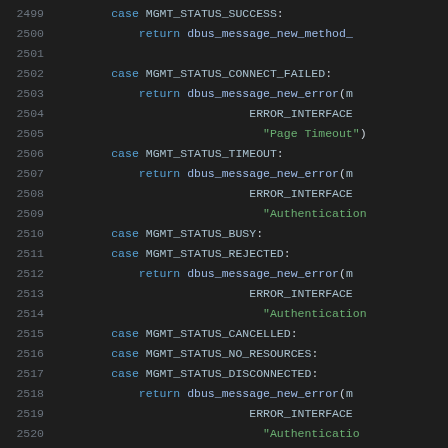[Figure (screenshot): Source code listing showing C switch-case statements handling MGMT_STATUS values (SUCCESS, CONNECT_FAILED, TIMEOUT, BUSY, REJECTED, CANCELLED, NO_RESOURCES, DISCONNECTED), with dbus_message_new_error and dbus_message_new_method calls, line numbers 2499-2520]